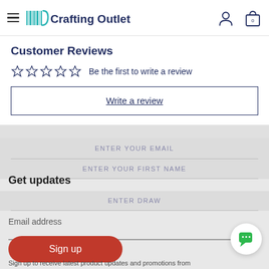Crafting Outlet
Customer Reviews
Be the first to write a review
Write a review
Get updates
Email address
Sign up
Sign up to receive latest product updates and promotions from